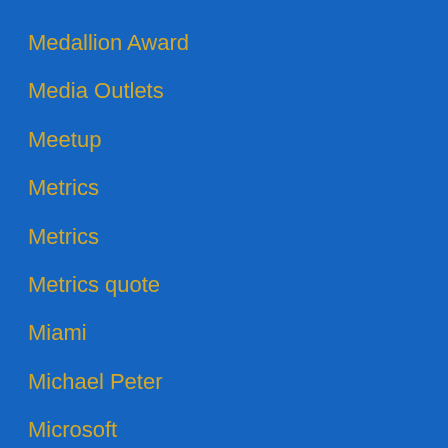Medallion Award
Media Outlets
Meetup
Metrics
Metrics
Metrics quote
Miami
Michael Peter
Microsoft